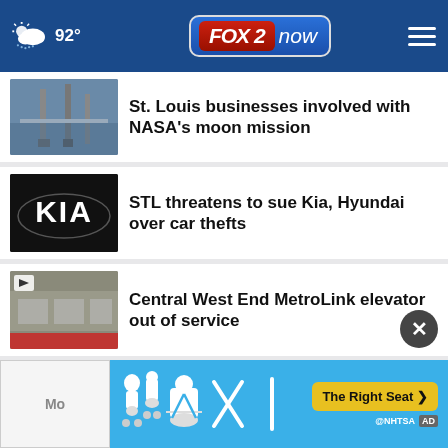92° FOX 2 now
St. Louis businesses involved with NASA's moon mission
STL threatens to sue Kia, Hyundai over car thefts
Central West End MetroLink elevator out of service
Afghan refugee resettlement discussion taking place …
The best in chess are competing in St. Louis
[Figure (screenshot): Advertisement banner: NHTSA car seat safety ad with 'The Right Seat >' button on blue background with car seat icons]